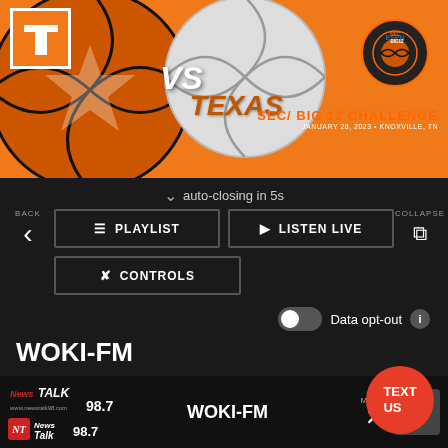[Figure (screenshot): Tennessee vs Texas SEC/Big 12 Challenge basketball promotional banner with orange background, basketball images, VS text, TEXAS text, SEC Big 12 badge]
auto-closing in 5s
BACK
PLAYLIST
LISTEN LIVE
COLLAPSE
CONTROLS
Data opt-out
WOKI-FM
TEXT US
WOKI-FM
MENU